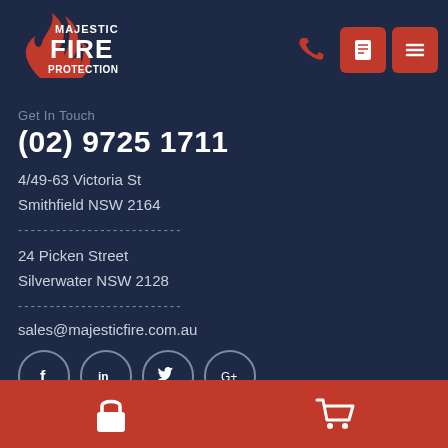[Figure (logo): Majestic Fire Protection logo - red and white text with fire graphic]
Get In Touch
(02) 9725 1711
4/49-63 Victoria St
Smithfield NSW 2164
24 Picken Street
Silverwater NSW 2128
sales@majesticfire.com.au
[Figure (infographic): Social media icons: Facebook, LinkedIn, Twitter, Google+]
Information